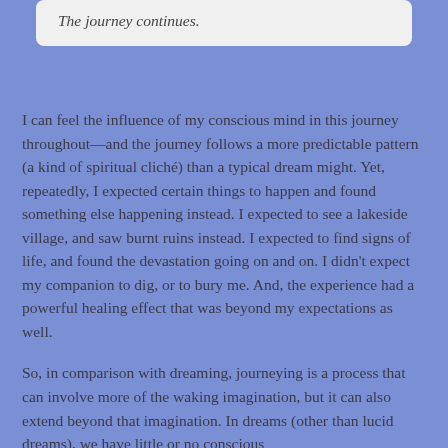The journey continues.
I can feel the influence of my conscious mind in this journey throughout—and the journey follows a more predictable pattern (a kind of spiritual cliché) than a typical dream might. Yet, repeatedly, I expected certain things to happen and found something else happening instead. I expected to see a lakeside village, and saw burnt ruins instead. I expected to find signs of life, and found the devastation going on and on. I didn't expect my companion to dig, or to bury me. And, the experience had a powerful healing effect that was beyond my expectations as well.
So, in comparison with dreaming, journeying is a process that can involve more of the waking imagination, but it can also extend beyond that imagination. In dreams (other than lucid dreams), we have little or no conscious